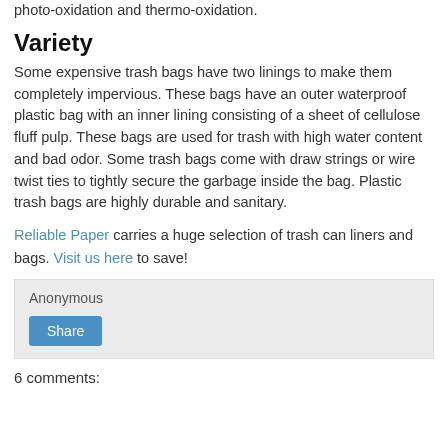photo-oxidation and thermo-oxidation.
Variety
Some expensive trash bags have two linings to make them completely impervious. These bags have an outer waterproof plastic bag with an inner lining consisting of a sheet of cellulose fluff pulp. These bags are used for trash with high water content and bad odor. Some trash bags come with draw strings or wire twist ties to tightly secure the garbage inside the bag. Plastic trash bags are highly durable and sanitary.
Reliable Paper carries a huge selection of trash can liners and bags. Visit us here to save!
Anonymous
Share
6 comments: